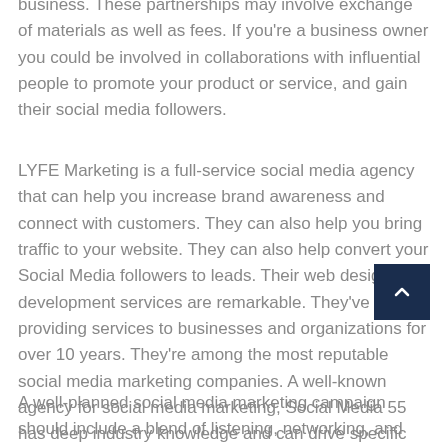business. These partnerships may involve exchange of materials as well as fees. If you're a business owner you could be involved in collaborations with influential people to promote your product or service, and gain their social media followers.
LYFE Marketing is a full-service social media agency that can help you increase brand awareness and connect with customers. They can also help you bring traffic to your website. They can also help convert your Social Media followers to leads. Their web design and development services are remarkable. They've been providing services to businesses and organizations for over 10 years. They're among the most reputable social media marketing companies. A well-known agency for social media marketing, Social Media 55 has deep industry knowledge and can drive specific movements for every business.
A well-planned social media marketing campaign should include a blend of listening, networking, and selling. A digital